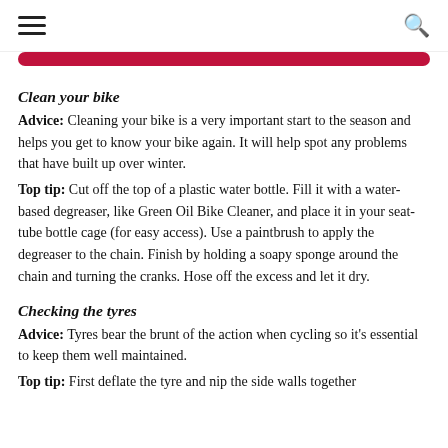☰  🔍
Clean your bike
Advice: Cleaning your bike is a very important start to the season and helps you get to know your bike again. It will help spot any problems that have built up over winter. Top tip: Cut off the top of a plastic water bottle. Fill it with a water-based degreaser, like Green Oil Bike Cleaner, and place it in your seat-tube bottle cage (for easy access). Use a paintbrush to apply the degreaser to the chain. Finish by holding a soapy sponge around the chain and turning the cranks. Hose off the excess and let it dry.
Checking the tyres
Advice: Tyres bear the brunt of the action when cycling so it's essential to keep them well maintained. Top tip: First deflate the tyre and nip the side walls together